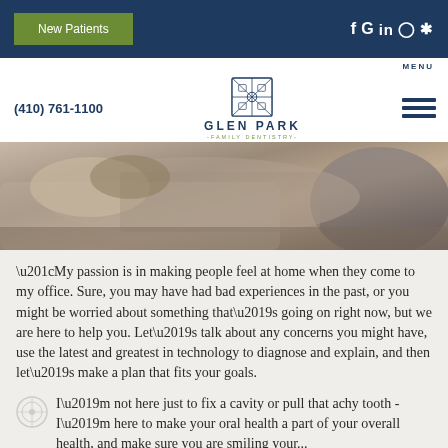New Patients  |  Social icons: f G in Instagram Yelp
MENU
[Figure (logo): Glen Park Family Dentistry logo with geometric snowflake-like icon and text GLEN PARK -FAMILY DENTISTRY-]
(410) 761-1100
[Figure (photo): Person reclining in dental or waiting chair, wearing khaki clothing, relaxed posture]
“My passion is in making people feel at home when they come to my office. Sure, you may have had bad experiences in the past, or you might be worried about something that’s going on right now, but we are here to help you. Let’s talk about any concerns you might have, use the latest and greatest in technology to diagnose and explain, and then let’s make a plan that fits your goals.
I’m not here just to fix a cavity or pull that achy tooth - I’m here to make your oral health a part of your overall health, and make sure you are smiling your...